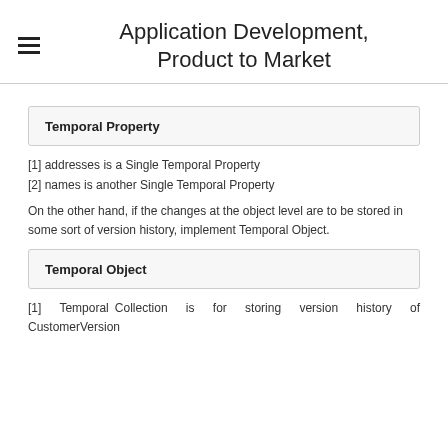Application Development, Product to Market
Temporal Property
[1] addresses is a Single Temporal Property
[2] names is another Single Temporal Property
On the other hand, if the changes at the object level are to be stored in some sort of version history, implement Temporal Object.
Temporal Object
[1] Temporal Collection is for storing version history of CustomerVersion